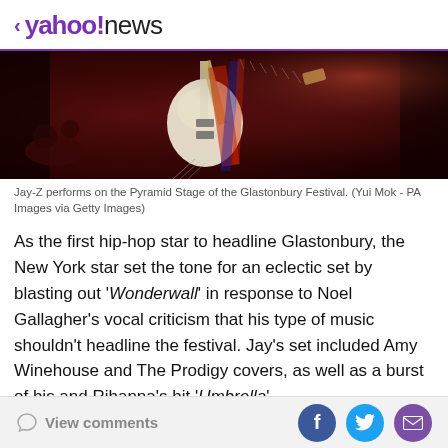< yahoo!news
[Figure (photo): Concert photo showing a guitar on stage at Glastonbury Festival with red stage lighting in the background]
Jay-Z performs on the Pyramid Stage of the Glastonbury Festival. (Yui Mok - PA Images via Getty Images)
As the first hip-hop star to headline Glastonbury, the New York star set the tone for an eclectic set by blasting out 'Wonderwall' in response to Noel Gallagher's vocal criticism that his type of music shouldn't headline the festival. Jay's set included Amy Winehouse and The Prodigy covers, as well as a burst of his and Rihanna's hit 'Umbrella'.
View comments